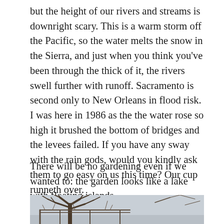but the height of our rivers and streams is downright scary. This is a warm storm off the Pacific, so the water melts the snow in the Sierra, and just when you think you've been through the thick of it, the rivers swell further with runoff. Sacramento is second only to New Orleans in flood risk. I was here in 1986 as the the water rose so high it brushed the bottom of bridges and the levees failed. If you have any sway with the rain gods, would you kindly ask them to go easy on us this time? Our cup runneth over.
There will be no gardening even if we wanted to: the garden looks like a lake with floating islands.
[Figure (photo): A bare winter tree with tangled branches photographed against a grey overcast sky, branches reaching in all directions without leaves.]